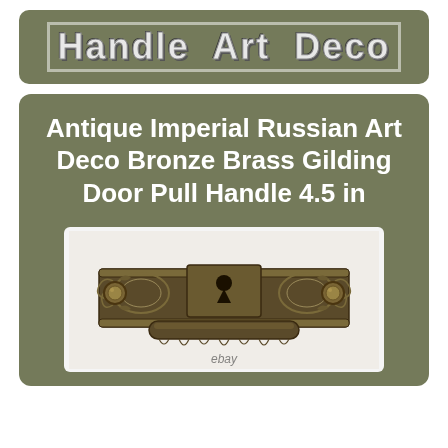Handle Art Deco
Antique Imperial Russian Art Deco Bronze Brass Gilding Door Pull Handle 4.5 in
[Figure (photo): Antique Imperial Russian Art Deco Bronze Brass Gilding Door Pull Handle with keyhole escutcheon, ornate decorative backplate, and two round knob pulls on each side, shown on a white background with eBay watermark.]